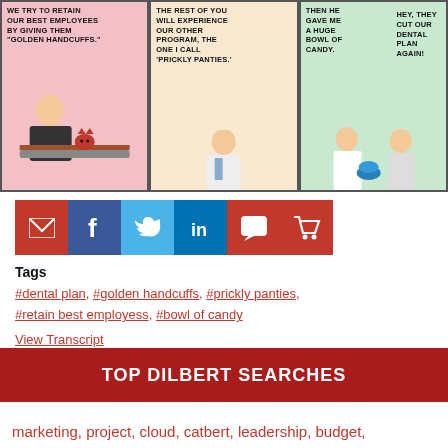[Figure (illustration): Dilbert comic strip in three panels. Panel 1 (pink background): Boss character says 'WE TRY TO RETAIN OUR BEST EMPLOYEES BY GIVING THEM "GOLDEN HANDCUFFS."'. Panel 2 (pink/cream background): Boss says 'THE REST OF YOU WILL EXPERIENCE OUR OTHER PROGRAM, THE ONE I CALL "PRICKLY PANTIES."'. Panel 3 (green background): Two characters, one says 'THEN HE GAVE ME A HUGE BOWL OF CANDY.' Other says 'HEY, THEY CUT OUR DENTAL PLAN AGAIN!']
[Figure (infographic): Row of 6 social sharing buttons: email (dark red), Facebook (dark blue), Twitter (light blue), LinkedIn (dark blue), comment/chat (dark red), shopping cart (dark red)]
Tags
#dental plan, #golden handcuffs, #prickly panties, #retain best employess, #bowl of candy
View Transcript
TOP DILBERT SEARCHES
marketing, project, cloud, catbert, leadership, budget,